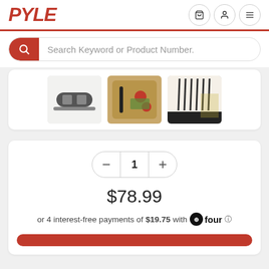[Figure (logo): Pyle brand logo in red italic bold text]
Search Keyword or Product Number.
[Figure (photo): Three product thumbnail images: knife sharpener device, knife on cutting board with tomatoes and herbs, and a knife set display]
1
$78.99
or 4 interest-free payments of $19.75 with four ℹ